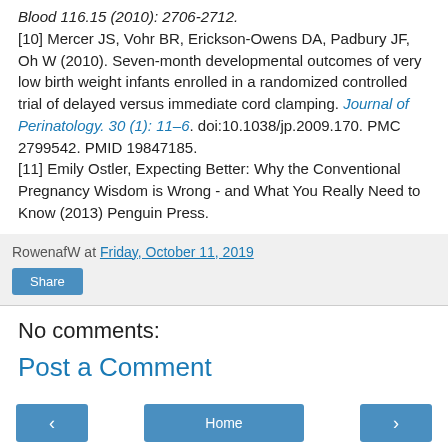Blood 116.15 (2010): 2706-2712. [10] Mercer JS, Vohr BR, Erickson-Owens DA, Padbury JF, Oh W (2010). Seven-month developmental outcomes of very low birth weight infants enrolled in a randomized controlled trial of delayed versus immediate cord clamping. Journal of Perinatology. 30 (1): 11–6. doi:10.1038/jp.2009.170. PMC 2799542. PMID 19847185. [11] Emily Ostler, Expecting Better: Why the Conventional Pregnancy Wisdom is Wrong - and What You Really Need to Know (2013) Penguin Press.
RowenafW at Friday, October 11, 2019
Share
No comments:
Post a Comment